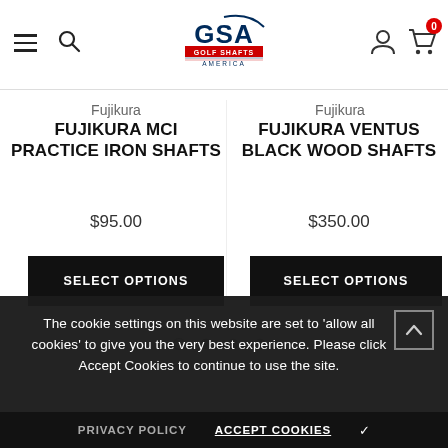GSA Golf Shafts America — navigation header with hamburger menu, search, logo, account, and cart (0 items)
Fujikura
FUJIKURA MCI PRACTICE IRON SHAFTS
$95.00
SELECT OPTIONS
Fujikura
FUJIKURA VENTUS BLACK WOOD SHAFTS
$350.00
SELECT OPTIONS
The cookie settings on this website are set to 'allow all cookies' to give you the very best experience. Please click Accept Cookies to continue to use the site.
PRIVACY POLICY   ACCEPT COOKIES ✓
CUSTOMER REVIEWS